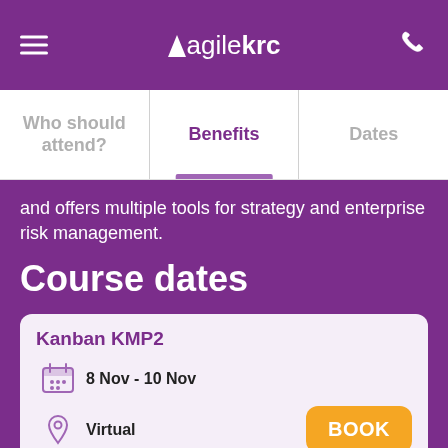agile krc
Who should attend?
Benefits
Dates
and offers multiple tools for strategy and enterprise risk management.
Course dates
Kanban KMP2
8 Nov - 10 Nov
Virtual
€995